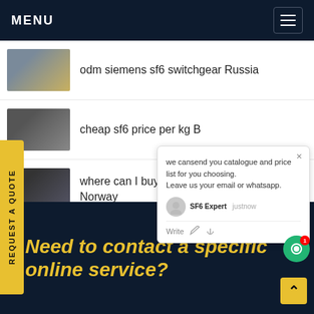MENU
odm siemens sf6 switchgear Russia
cheap sf6 price per kg B...
where can I buy greenh... Norway
REQUEST A QUOTE
we cansend you catalogue and price list for you choosing.
Leave us your email or whatsapp.
SF6 Expert  justnow
Write
Need to contact a specific online service?